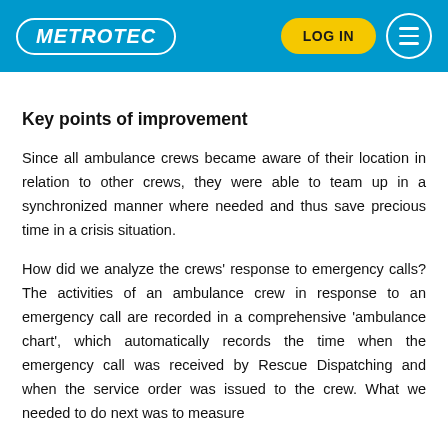METROTEC | LOG IN | menu
Key points of improvement
Since all ambulance crews became aware of their location in relation to other crews, they were able to team up in a synchronized manner where needed and thus save precious time in a crisis situation.
How did we analyze the crews' response to emergency calls? The activities of an ambulance crew in response to an emergency call are recorded in a comprehensive 'ambulance chart', which automatically records the time when the emergency call was received by Rescue Dispatching and when the service order was issued to the crew. What we needed to do next was to measure